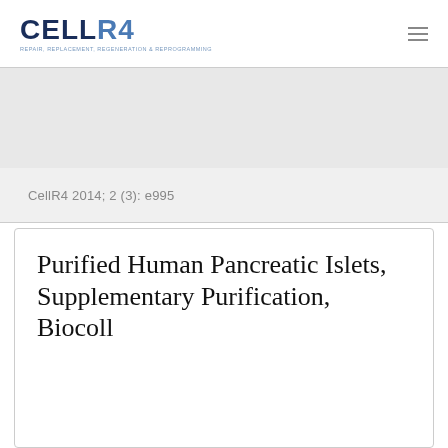CELLR4 — REPAIR, REPLACEMENT, REGENERATION & REPROGRAMMING
CellR4 2014; 2 (3): e995
Purified Human Pancreatic Islets, Supplementary Purification, Biocoll